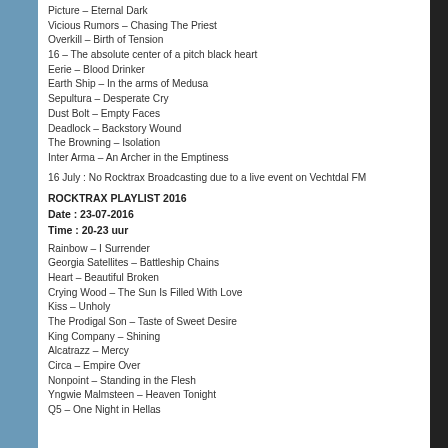Picture – Eternal Dark
Vicious Rumors – Chasing The Priest
Overkill – Birth of Tension
16 – The absolute center of a pitch black heart
Eerie – Blood Drinker
Earth Ship – In the arms of Medusa
Sepultura – Desperate Cry
Dust Bolt – Empty Faces
Deadlock – Backstory Wound
The Browning – Isolation
Inter Arma – An Archer in the Emptiness
16 July : No Rocktrax Broadcasting due to a live event on Vechtdal FM
ROCKTRAX PLAYLIST 2016
Date : 23-07-2016
Time : 20-23 uur
Rainbow – I Surrender
Georgia Satellites – Battleship Chains
Heart – Beautiful Broken
Crying Wood – The Sun Is Filled With Love
Kiss – Unholy
The Prodigal Son – Taste of Sweet Desire
King Company – Shining
Alcatrazz – Mercy
Circa – Empire Over
Nonpoint – Standing in the Flesh
Yngwie Malmsteen – Heaven Tonight
Q5 – One Night in Hellas